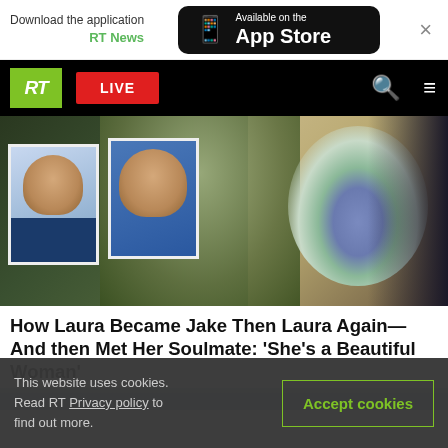Download the application RT News — Available on the App Store
[Figure (screenshot): RT News website navigation bar with RT logo (green square), LIVE button (red), search and menu icons on black background]
[Figure (photo): Composite photo: school photos of a young person and a mugshot-style photo held by someone in a green t-shirt on the left half; a woman in white holding a blue and white flower bouquet on the right half]
How Laura Became Jake Then Laura Again—And then Met Her Soulmate: ‘She’s a Beautiful Woman’
[Figure (photo): Partial second image below title, showing a blurred blue/light background with top of a person's head]
This website uses cookies. Read RT Privacy policy to find out more.
Accept cookies